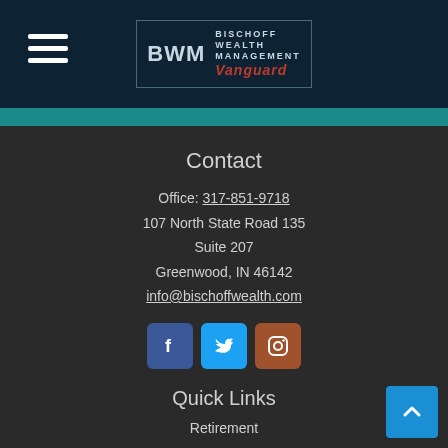[Figure (logo): BWM Bischoff Wealth Management Vanguard logo in header]
Contact
Office: 317-851-9718
107 North State Road 135
Suite 207
Greenwood, IN 46142
info@bischoffwealth.com
[Figure (infographic): Social media icons: Facebook, Twitter, Instagram]
Quick Links
Retirement
Investment
Estate
Insurance